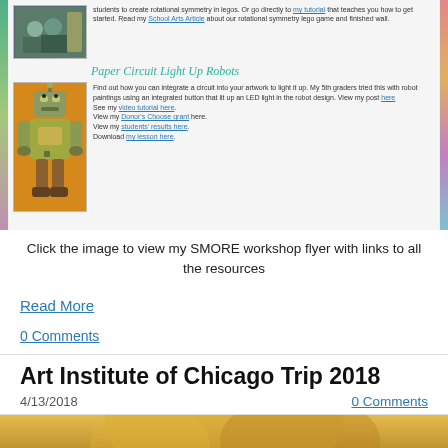[Figure (screenshot): Screenshot of a workshop flyer showing 'Paper Circuit Light Up Robots' section with a robot painting image and description including links to post, video tutorial, Donor's Choose grant, students' results, and lesson download.]
Click the image to view my SMORE workshop flyer with links to all the resources
Read More
0 Comments
Art Institute of Chicago Trip 2018
4/13/2018
0 Comments
[Figure (photo): Bottom portion of a photo, appears to show a golden/warm-toned artwork or sculpture, partially cropped.]